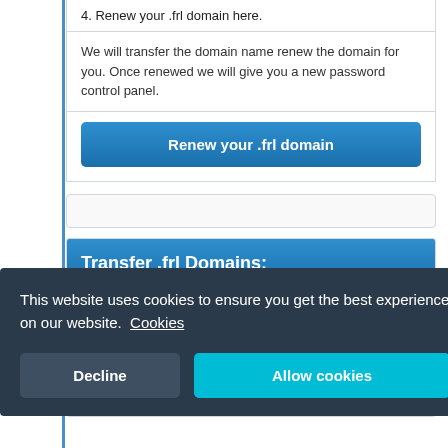4. Renew your .frl domain here.
We will transfer the domain name renew the domain for you. Once renewed we will give you a new password control panel.
Renew your .frl domain
Transfer .frl Domains:
Transfering is Easy
Make life easy and transfer your domain into a control panel which supports all known domain types. CCtld and gTld. The transfer of your .frl is only FREE and will ...
This website uses cookies to ensure you get the best experience on our website.  Cookies
Decline
Allow cookies
.frl Premium Names
Some registries make additional revenue by charging